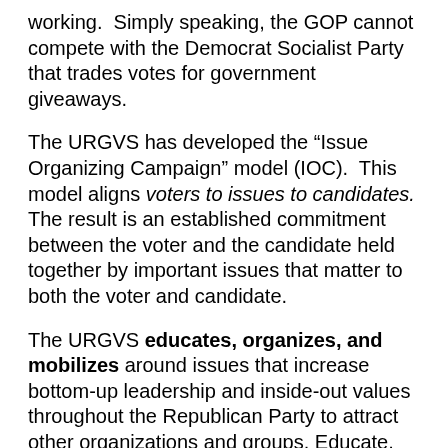working.  Simply speaking, the GOP cannot compete with the Democrat Socialist Party that trades votes for government giveaways.
The URGVS has developed the “Issue Organizing Campaign” model (IOC).  This model aligns voters to issues to candidates. The result is an established commitment between the voter and the candidate held together by important issues that matter to both the voter and candidate.
The URGVS educates, organizes, and mobilizes around issues that increase bottom-up leadership and inside-out values throughout the Republican Party to attract other organizations and groups. Educate, organize, and mobilize are defined as: